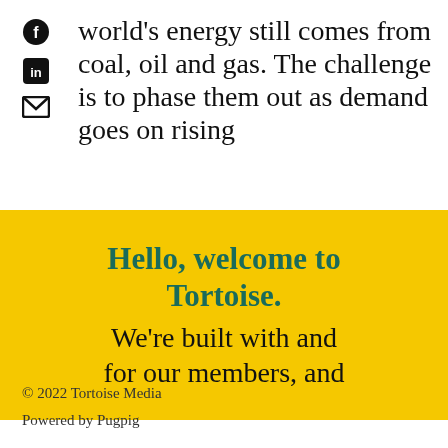world's energy still comes from coal, oil and gas. The challenge is to phase them out as demand goes on rising
Hello, welcome to Tortoise. We're built with and for our members, and
© 2022 Tortoise Media
Powered by Pugpig